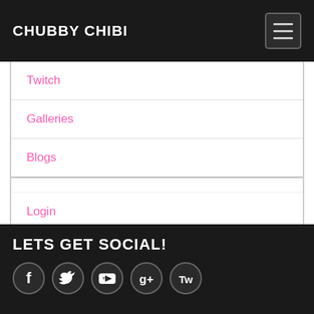CHUBBY CHIBI
Twitch
Galleries
Blogs
Login
Signup!
LETS GET SOCIAL!
[Figure (illustration): Row of 5 social media icon circles: Facebook (f), Twitter bird, YouTube (play button with 'You' text), Google+ (g+), Twitch (Tw)]